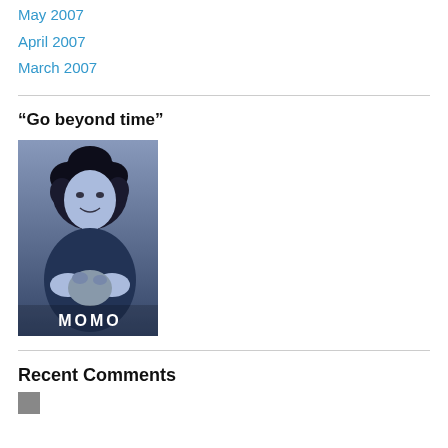May 2007
April 2007
March 2007
“Go beyond time”
[Figure (photo): Black and white/blue-tinted photo of a young girl with curly hair holding a small animal, with text 'MOMO' overlaid at the bottom]
Recent Comments